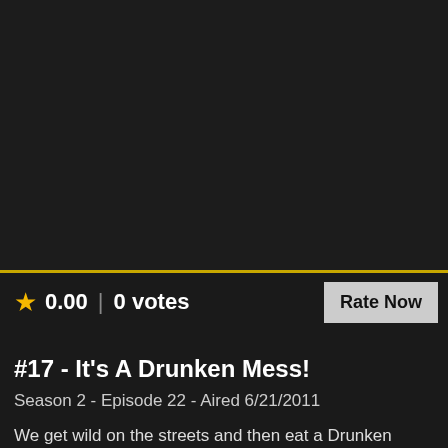[Figure (photo): Dark/black image area representing a video thumbnail with no visible content]
★ 0.00 | 0 votes
Rate Now
#17 - It's A Drunken Mess!
Season 2 - Episode 22 - Aired 6/21/2011
We get wild on the streets and then eat a Drunken Mess of a meal in a di club!